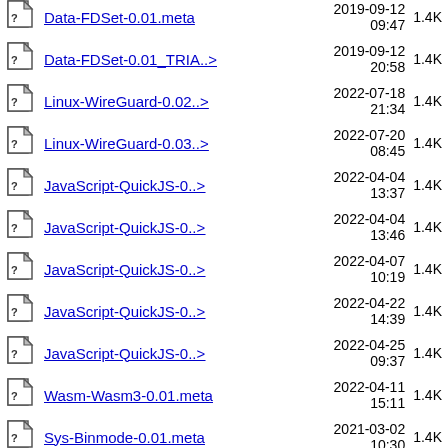Data-FDSet-0.01.meta  2019-09-12 09:47  1.4K
Data-FDSet-0.01_TRIA..>  2019-09-12 20:58  1.4K
Linux-WireGuard-0.02..>  2022-07-18 21:34  1.4K
Linux-WireGuard-0.03..>  2022-07-20 08:45  1.4K
JavaScript-QuickJS-0..>  2022-04-04 13:37  1.4K
JavaScript-QuickJS-0..>  2022-04-04 13:46  1.4K
JavaScript-QuickJS-0..>  2022-04-07 10:19  1.4K
JavaScript-QuickJS-0..>  2022-04-22 14:39  1.4K
JavaScript-QuickJS-0..>  2022-04-25 09:37  1.4K
Wasm-Wasm3-0.01.meta  2022-04-11 15:11  1.4K
Sys-Binmode-0.01.meta  2021-03-02 10:30  1.4K
Math-ProvablePrime-0..>  2016-12-16 00:10  1.4K